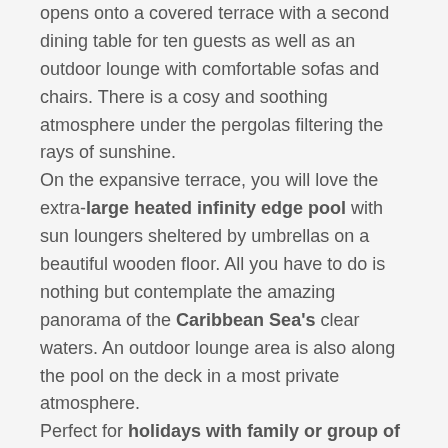opens onto a covered terrace with a second dining table for ten guests as well as an outdoor lounge with comfortable sofas and chairs. There is a cosy and soothing atmosphere under the pergolas filtering the rays of sunshine. On the expansive terrace, you will love the extra-large heated infinity edge pool with sun loungers sheltered by umbrellas on a beautiful wooden floor. All you have to do is nothing but contemplate the amazing panorama of the Caribbean Sea's clear waters. An outdoor lounge area is also along the pool on the deck in a most private atmosphere. Perfect for holidays with family or group of friends, the rental house CASA MINOTTO in Saint Barths is composed of four bedrooms located in independent pavilions for utmost privacy. With natural tones and materials, luxury items, warm colour palettes and ideal setups, all bedrooms feature a king-size bed and an en-